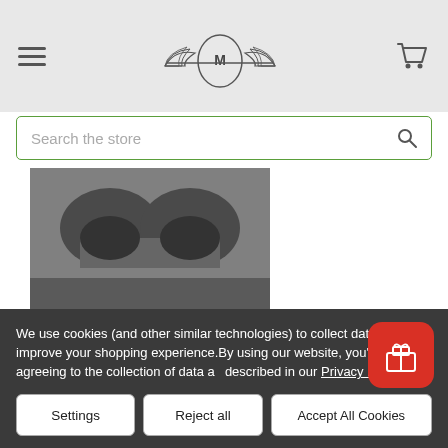Navigation header with hamburger menu, winged logo, and cart icon
[Figure (screenshot): Search bar with green border and magnifying glass icon, text: 'Search the store']
[Figure (photo): Product image showing dark foam tray pieces in grayscale]
[Figure (screenshot): Add to Cart green button and compare arrows button]
(Skaven) 1 Screaming Bell 1 Plague Furnace 2 Doomwheel Foam Tray (BFL-5)
We use cookies (and other similar technologies) to collect data to improve your shopping experience.By using our website, you're agreeing to the collection of data as described in our Privacy Policy.
[Figure (screenshot): Three cookie consent buttons: Settings, Reject all, Accept All Cookies]